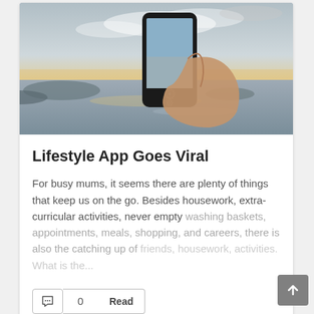[Figure (photo): A hand holding a smartphone photographing a sunset over the ocean, with the phone screen showing the captured image of clouds and water.]
Lifestyle App Goes Viral
For busy mums, it seems there are plenty of things that keep us on the go. Besides housework, extra-curricular activities, never empty washing baskets, appointments, meals, shopping, and careers, there is also the catching up of friends, housework, activities. What is the...